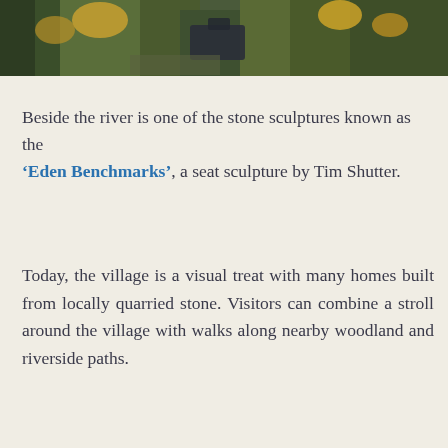[Figure (photo): Aerial photograph of a village or settlement surrounded by trees with autumn foliage, showing rooftops and green spaces from above.]
Beside the river is one of the stone sculptures known as the ‘Eden Benchmarks’, a seat sculpture by Tim Shutter.
Today, the village is a visual treat with many homes built from locally quarried stone. Visitors can combine a stroll around the village with walks along nearby woodland and riverside paths.